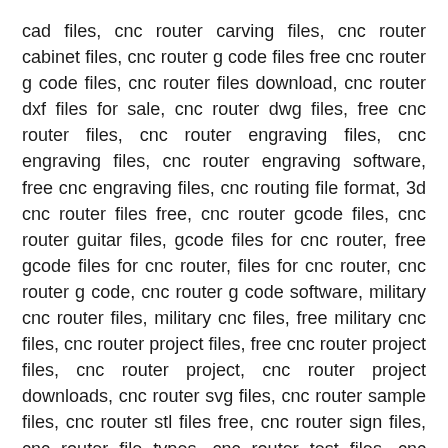cad files, cnc router carving files, cnc router cabinet files, cnc router g code files free cnc router g code files, cnc router files download, cnc router dxf files for sale, cnc router dwg files, free cnc router files, cnc router engraving files, cnc engraving files, cnc router engraving software, free cnc engraving files, cnc routing file format, 3d cnc router files free, cnc router gcode files, cnc router guitar files, gcode files for cnc router, free gcode files for cnc router, files for cnc router, cnc router g code, cnc router g code software, military cnc router files, military cnc files, free military cnc files, cnc router project files, free cnc router project files, cnc router project, cnc router project downloads, cnc router svg files, cnc router sample files, cnc router stl files free, cnc router sign files, cnc router file types, cnc router test files, cnc router table files, cnc router file, file type for cnc router, file format for cnc router, cnc router vector files, free cnc router vector files, vector files for cnc router, free vector files for cnc router, vector images for cnc router, cnc files for wood, wood cnc files, cnc router 3d files, fusion 360 cnc